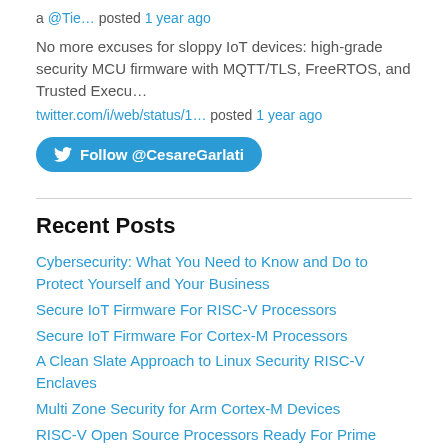a @Tie… posted 1 year ago
No more excuses for sloppy IoT devices: high-grade security MCU firmware with MQTT/TLS, FreeRTOS, and Trusted Execu…
twitter.com/i/web/status/1… posted 1 year ago
[Figure (other): Follow @CesareGarlati button (Twitter blue rounded button)]
Recent Posts
Cybersecurity: What You Need to Know and Do to Protect Yourself and Your Business
Secure IoT Firmware For RISC-V Processors
Secure IoT Firmware For Cortex-M Processors
A Clean Slate Approach to Linux Security RISC-V Enclaves
Multi Zone Security for Arm Cortex-M Devices
RISC-V Open Source Processors Ready For Prime Time
A New Zero-Trust Model for Securing Embedded Systems
Trusted Execution Environments – A System Design Perspective
Maintaining Security in a Heterogeneous and Changing World